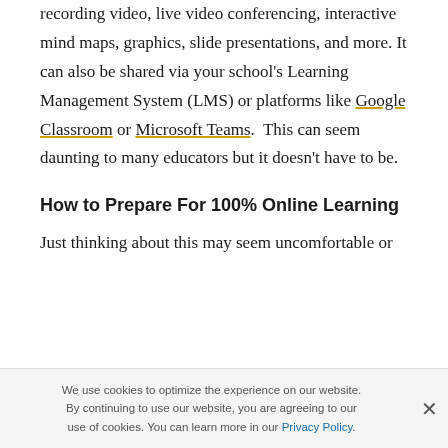recording video, live video conferencing, interactive mind maps, graphics, slide presentations, and more. It can also be shared via your school's Learning Management System (LMS) or platforms like Google Classroom or Microsoft Teams.  This can seem daunting to many educators but it doesn't have to be.
How to Prepare For 100% Online Learning
Just thinking about this may seem uncomfortable or
We use cookies to optimize the experience on our website. By continuing to use our website, you are agreeing to our use of cookies. You can learn more in our Privacy Policy.